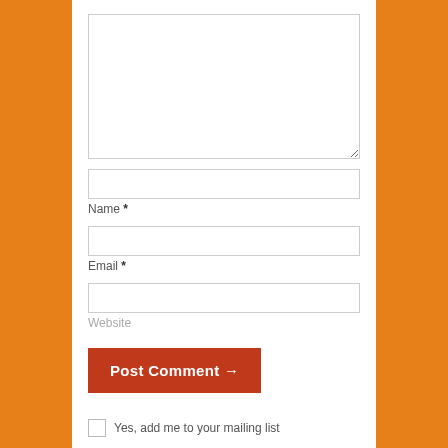[Figure (screenshot): Comment form with textarea, Name field, Email field, Website field, Post Comment button, and mailing list checkbox]
Name *
Email *
Website
Post Comment →
Yes, add me to your mailing list